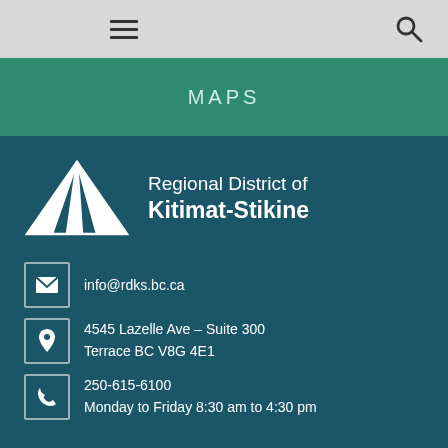≡  🔍
MAPS
[Figure (logo): Regional District of Kitimat-Stikine logo — white geometric mountain/arrow mark with organization name]
info@rdks.bc.ca
4545 Lazelle Ave – Suite 300
Terrace BC V8G 4E1
250-615-6100
Monday to Friday 8:30 am to 4:30 pm